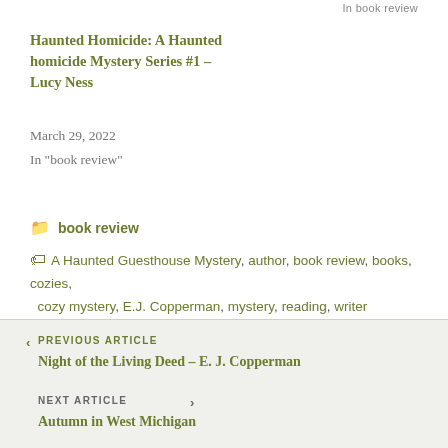In  book review
Haunted Homicide: A Haunted homicide Mystery Series #1 – Lucy Ness
March 29, 2022
In "book review"
📁 book review
🏷 A Haunted Guesthouse Mystery, author, book review, books, cozies, cozy mystery, E.J. Copperman, mystery, reading, writer
< PREVIOUS ARTICLE
Night of the Living Deed – E. J. Copperman
NEXT ARTICLE >
Autumn in West Michigan